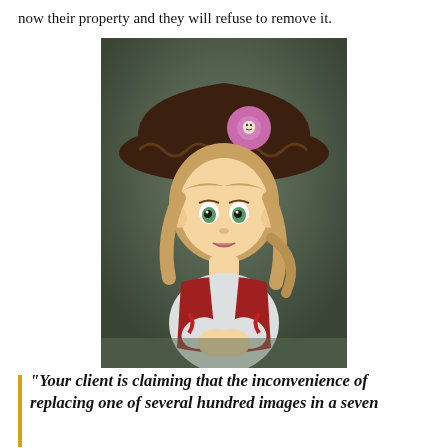now their property and they will refuse to remove it.
[Figure (illustration): Cartoon illustration of a young girl dressed as a pirate, wearing a large dark brown tricorn hat with a pink flower and skull decoration. She has green eyes, blonde hair, and wears a red vest over a white shirt with red ribbons. The background is dark greenish.]
“Your client is claiming that the inconvenience of replacing one of several hundred images in a seven